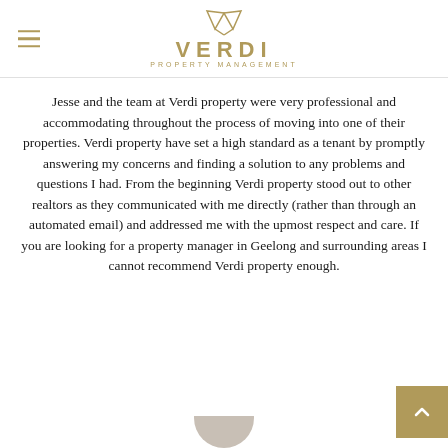VERDI PROPERTY MANAGEMENT
Jesse and the team at Verdi property were very professional and accommodating throughout the process of moving into one of their properties. Verdi property have set a high standard as a tenant by promptly answering my concerns and finding a solution to any problems and questions I had. From the beginning Verdi property stood out to other realtors as they communicated with me directly (rather than through an automated email) and addressed me with the upmost respect and care. If you are looking for a property manager in Geelong and surrounding areas I cannot recommend Verdi property enough.